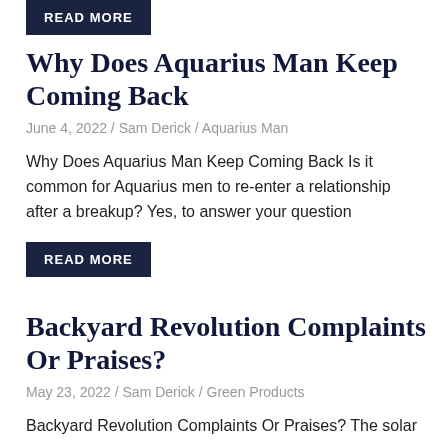READ MORE
Why Does Aquarius Man Keep Coming Back
June 4, 2022 / Sam Derick / Aquarius Man
Why Does Aquarius Man Keep Coming Back Is it common for Aquarius men to re-enter a relationship after a breakup? Yes, to answer your question
READ MORE
Backyard Revolution Complaints Or Praises?
May 23, 2022 / Sam Derick / Green Products
Backyard Revolution Complaints Or Praises? The solar